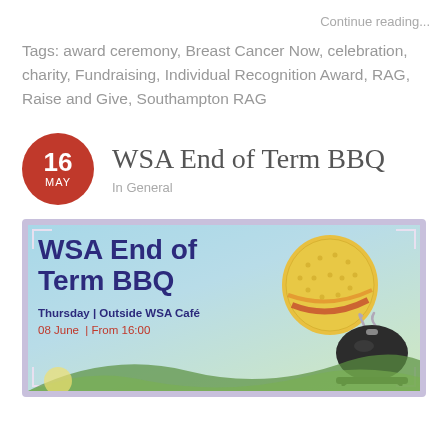Continue reading...
Tags: award ceremony, Breast Cancer Now, celebration, charity, Fundraising, Individual Recognition Award, RAG, Raise and Give, Southampton RAG
WSA End of Term BBQ
In General
[Figure (illustration): WSA End of Term BBQ promotional poster with purple border, decorative corners, bold navy text reading 'WSA End of Term BBQ', event details Thursday | Outside WSA Café, 08 June | From 16:00, and illustrations of a golf ball and BBQ grill on a light blue/teal background with hills.]